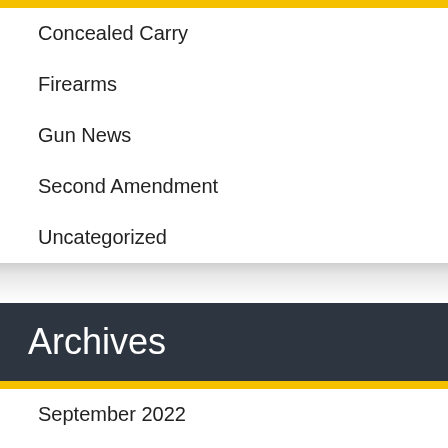Concealed Carry
Firearms
Gun News
Second Amendment
Uncategorized
Archives
September 2022
August 2022
July 2022
June 2022